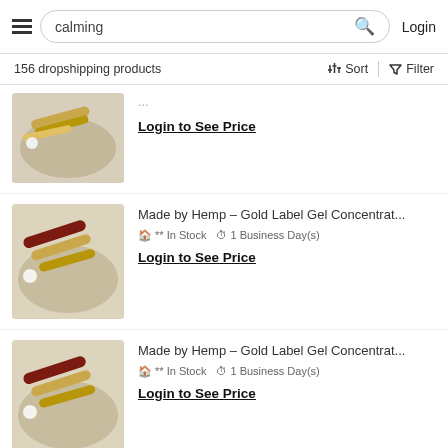calming — Login
156 dropshipping products
Sort | Filter
Login to See Price
Made by Hemp – Gold Label Gel Concentrat...
** In Stock  1 Business Day(s)
Login to See Price
Made by Hemp – Gold Label Gel Concentrat...
** In Stock  1 Business Day(s)
Login to See Price